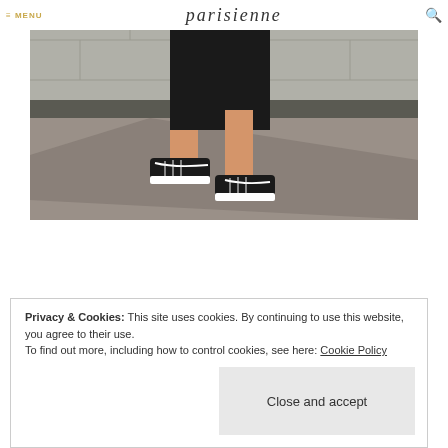MENU  parisienne  🔍
[Figure (photo): Street style photo showing close-up of person walking in black Vans sneakers with a black leather midi skirt, on a Paris street sidewalk with gray stone wall in background]
[Figure (photo): Thumbnail strip of additional fashion/street style photos partially visible]
Privacy & Cookies: This site uses cookies. By continuing to use this website, you agree to their use.
To find out more, including how to control cookies, see here: Cookie Policy
Close and accept